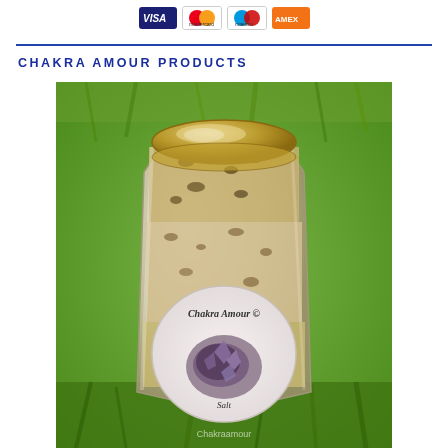[Payment icons: Visa, Mastercard, Maestro, PayPal/Amex]
CHAKRA AMOUR PRODUCTS
[Figure (photo): A glass jar with a gold lid filled with herbal salt/bath product, sitting on green grass. The jar has a circular label reading 'Chakra Amour ©' and 'Salt' with a watermark 'Chakraamour' at the bottom.]